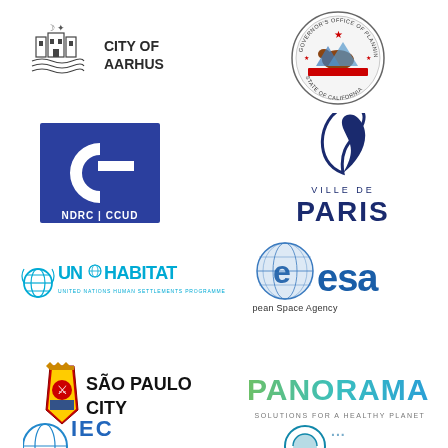[Figure (logo): City of Aarhus logo with castle/building icon and text CITY OF AARHUS]
[Figure (logo): Governor's Office of Planning and Research, State of California circular seal logo]
[Figure (logo): NDRC CCUD logo - blue square with stylized G/C letter mark]
[Figure (logo): Ville de Paris logo with leaf/flame swirl icon and text VILLE DE PARIS]
[Figure (logo): UN-Habitat logo with globe icon and text UNHABITAT, United Nations Human Settlements Programme]
[Figure (logo): ESA European Space Agency logo with blue globe and e mark]
[Figure (logo): São Paulo City logo with city crest and bold text SÃO PAULO CITY]
[Figure (logo): PANORAMA Solutions for a Healthy Planet logo in green/teal gradient text]
[Figure (logo): Partial IEC logo at bottom left - blue globe icon partially visible]
[Figure (logo): Partial logo at bottom right - blue icon partially visible]